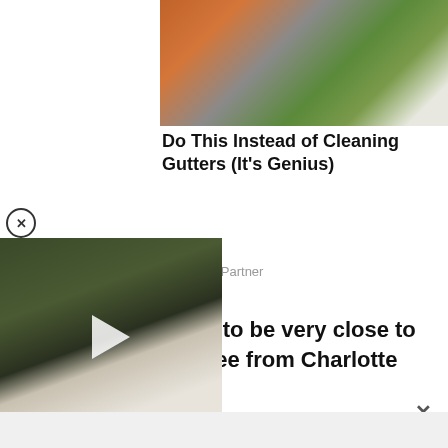[Figure (photo): Photo of a gutter with orange debris and green lawn visible, part of an advertisement for LeafFilter gutter protection]
Do This Instead of Cleaning Gutters (It's Genius)
LeafFilter Partner
Celtic are reported to be very close to signing Riley McGree from Charlotte FC.
[Figure (screenshot): Video thumbnail showing a man in a white shirt, with a play button overlay, part of an embedded video player with a close (X) button]
[Figure (other): Close button (X in circle) for an overlay element]